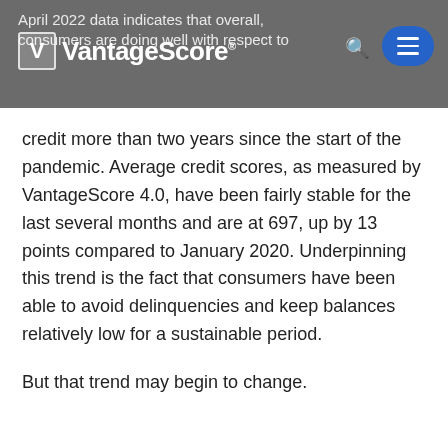April 2022 data indicates that overall, consumers are doing well with respect to
credit more than two years since the start of the pandemic. Average credit scores, as measured by VantageScore 4.0, have been fairly stable for the last several months and are at 697, up by 13 points compared to January 2020. Underpinning this trend is the fact that consumers have been able to avoid delinquencies and keep balances relatively low for a sustainable period.
But that trend may begin to change.